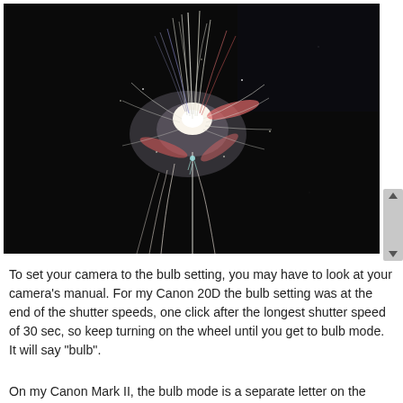[Figure (photo): A fireworks explosion against a dark night sky, showing bright white and colored light trails radiating outward]
To set your camera to the bulb setting, you may have to look at your camera's manual. For my Canon 20D the bulb setting was at the end of the shutter speeds, one click after the longest shutter speed of 30 sec, so keep turning on the wheel until you get to bulb mode. It will say "bulb".
On my Canon Mark II, the bulb mode is a separate letter on the